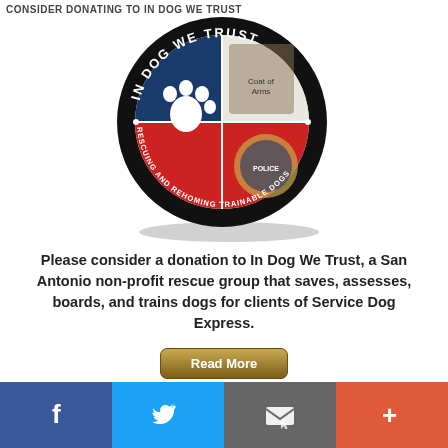CONSIDER DONATING TO IN DOG WE TRUST
[Figure (logo): In Dog We Trust circular logo — black outer ring with text 'IN DOG WE TRUST' at top and 'RESCUING AND REHOMING TRAINABLE DOGS' at bottom. Inner circle divided into four quadrants: top-left dark blue with white paw print, top-right coat of arms, bottom-left red, bottom-right police badge emblem.]
Please consider a donation to In Dog We Trust, a San Antonio non-profit rescue group that saves, assesses, boards, and trains dogs for clients of Service Dog Express.
[Figure (other): Read More button — olive/gold gradient rounded rectangle button with white bold text 'Read More']
Social sharing bar with Facebook, Twitter, Email, and Add (+) icons